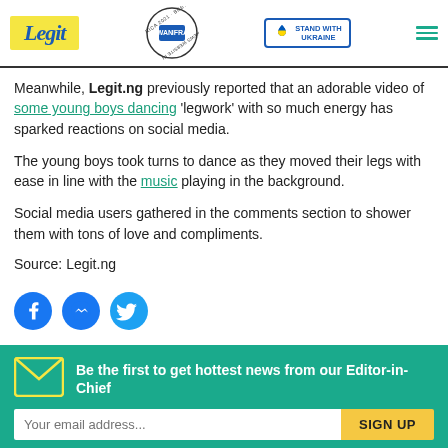Legit | WAN IFRA 2021 Best News Website in Africa | Stand with Ukraine
Meanwhile, Legit.ng previously reported that an adorable video of some young boys dancing 'legwork' with so much energy has sparked reactions on social media.
The young boys took turns to dance as they moved their legs with ease in line with the music playing in the background.
Social media users gathered in the comments section to shower them with tons of love and compliments.
Source: Legit.ng
[Figure (other): Social media share icons: Facebook, Messenger, Twitter]
Be the first to get hottest news from our Editor-in-Chief